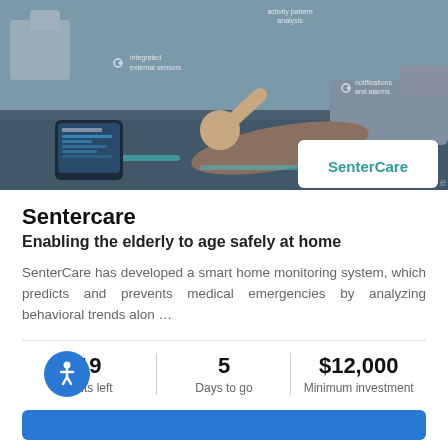[Figure (photo): Smart home monitoring scene: elderly man on floor after a fall in a modern living room with digital overlay annotations showing 'activity pattern analysis', 'integrated external sensors', 'notifications and alarms'. SenterCare logo visible in white card overlay. A tablet device with app interface shown bottom left.]
Sentercare
Enabling the elderly to age safely at home
SenterCare has developed a smart home monitoring system, which predicts and prevents medical emergencies by analyzing behavioral trends alon …
19
Units left
5
Days to go
$12,000
Minimum investment
69% From funding target